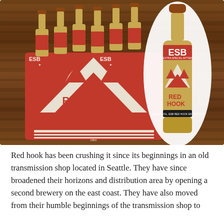[Figure (photo): Red Hook ESB six-pack box and single bottle displayed on a wooden background. The box is red and cream colored with a mountain logo and 'RED HOOK' branding, labeled 'ESB'. Six brown bottles with red caps sit on top of the six-pack carrier. A single ESB bottle stands to the right.]
Red hook has been crushing it since its beginnings in an old transmission shop located in Seattle. They have since broadened their horizons and distribution area by opening a second brewery on the east coast. They have also moved from their humble beginnings of the transmission shop to